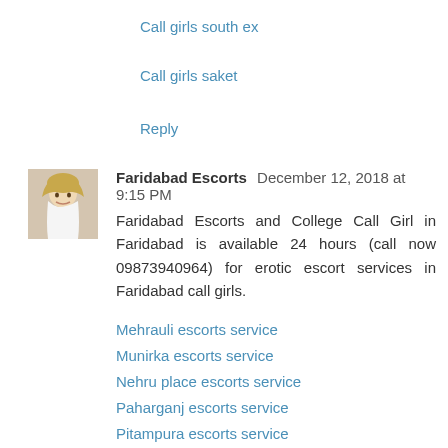Call girls south ex
Call girls saket
Reply
Faridabad Escorts  December 12, 2018 at 9:15 PM
Faridabad Escorts and College Call Girl in Faridabad is available 24 hours (call now 09873940964) for erotic escort services in Faridabad call girls.
Mehrauli escorts service
Munirka escorts service
Nehru place escorts service
Paharganj escorts service
Pitampura escorts service